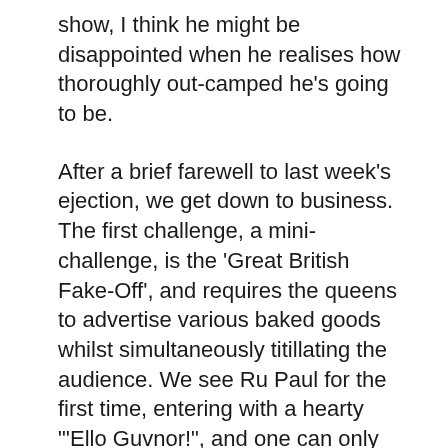show, I think he might be disappointed when he realises how thoroughly out-camped he's going to be.
After a brief farewell to last week's ejection, we get down to business. The first challenge, a mini-challenge, is the 'Great British Fake-Off', and requires the queens to advertise various baked goods whilst simultaneously titillating the audience. We see Ru Paul for the first time, entering with a hearty "'Ello Guvnor!", and one can only marvel at the perfectly formed egg that is her head. Is it waxed, or polished? So many questions. Anywho, two terrified looking men in bemusingly patriotic underwear bring in the goods, and we're off.
Each queen has about a minute, and some definitely make better use of their time than others. Tia Kofi predictably swims halfway across the dressing